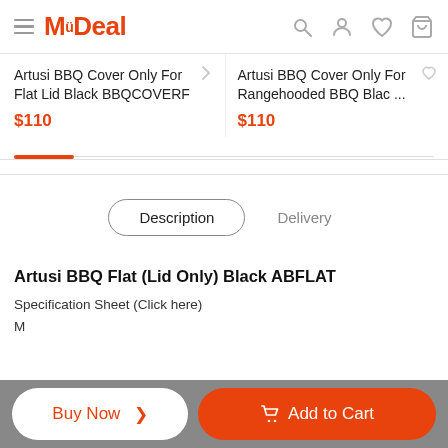MyDeal
Artusi BBQ Cover Only For Flat Lid Black BBQCOVERF
$110
Artusi BBQ Cover Only For Rangehooded BBQ Blac ...
$110
Description   Delivery
Artusi BBQ Flat (Lid Only) Black ABFLAT
Specification Sheet (Click here)
Buy Now >   Add to Cart